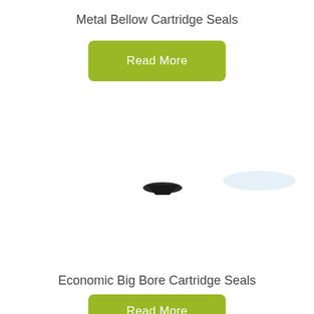Metal Bellow Cartridge Seals
Read More
[Figure (photo): Partial view of a metal bellow cartridge seal component with a small dark triangular element visible on a white background, with a faint bluish smudge in the upper right area.]
Economic Big Bore Cartridge Seals
Read More